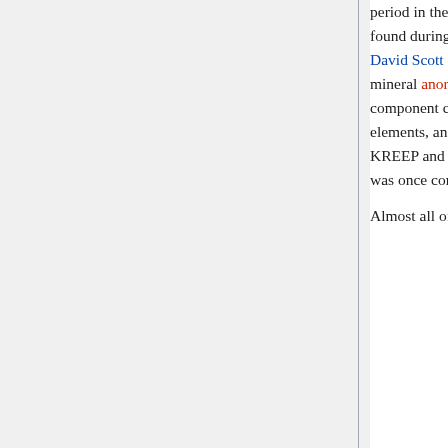period in the evolution of the Solar System that is largely missing from Earth. One important rock found during the Apollo program was the Genesis Rock, retrieved by astronauts James Irwin and David Scott during the Apollo 15 mission. This rock is composed almost exclusively of the mineral anorthosite, and is believed to be representative of the highland crust. A geochemical component called KREEP (an acronym for rocks with high abundances of potassium, rare earth elements, and phosphorus) was discovered that has no known terrestrial counterpart. Together, KREEP and the anorthositic samples have been used to infer that the outer portion of the Moon was once completely molten.
Almost all of the rocks show evidence of